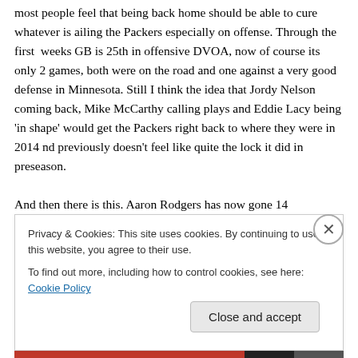most people feel that being back home should be able to cure whatever is ailing the Packers especially on offense. Through the first  weeks GB is 25th in offensive DVOA, now of course its only 2 games, both were on the road and one against a very good defense in Minnesota. Still I think the idea that Jordy Nelson coming back, Mike McCarthy calling plays and Eddie Lacy being 'in shape' would get the Packers right back to where they were in 2014 nd previously doesn't feel like quite the lock it did in preseason.
And then there is this. Aaron Rodgers has now gone 14
Privacy & Cookies: This site uses cookies. By continuing to use this website, you agree to their use.
To find out more, including how to control cookies, see here: Cookie Policy
Close and accept